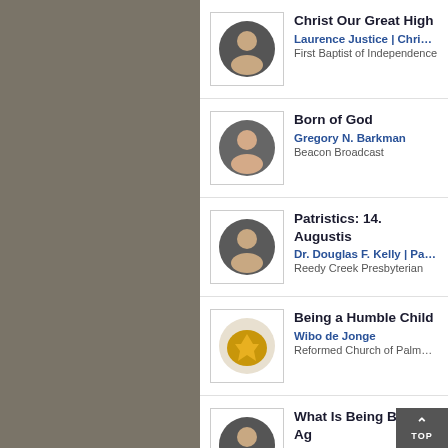Christ Our Great High... | Laurence Justice | Christ Is A... | First Baptist of Independence
Born of God | Gregory N. Barkman | Beacon Broadcast
Patristics: 14. Augustis... | Dr. Douglas F. Kelly | Patristico... | Reedy Creek Presbyterian
Being a Humble Child... | Wibo de Jonge | Reformed Church of Palmersto...
What Is Being Born Ag... | Bernie Timmerman | Call to W... | Call to Worship - Zion Chapel...